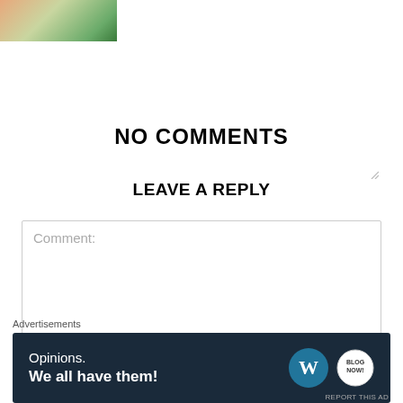[Figure (photo): Partial thumbnail photo showing a person wearing a blue patterned top]
NO COMMENTS
LEAVE A REPLY
Comment:
Advertisements
[Figure (infographic): WordPress advertisement banner with text 'Opinions. We all have them!' and WordPress logo and badge logo on dark navy background]